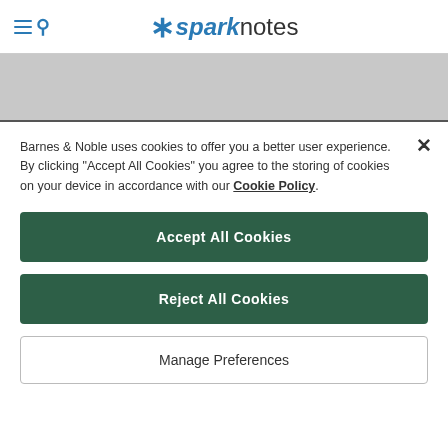*sparknotes
Barnes & Noble uses cookies to offer you a better user experience. By clicking "Accept All Cookies" you agree to the storing of cookies on your device in accordance with our Cookie Policy.
Accept All Cookies
Reject All Cookies
Manage Preferences